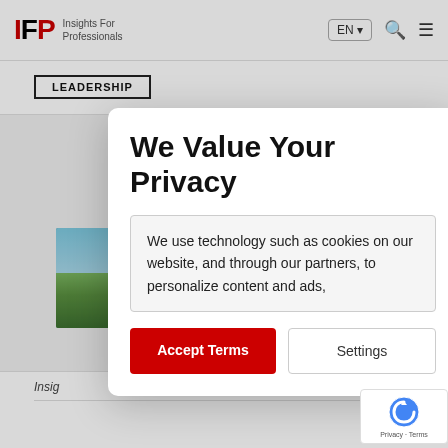IFP Insights For Professionals | EN | Search | Menu
LEADERSHIP
[Figure (photo): Background nature photo showing a coastal landscape with green grass, cliffs, blue sky, and an animal in the foreground]
We Value Your Privacy
We use technology such as cookies on our website, and through our partners, to personalize content and ads,
Accept Terms
Settings
ARTICLE
Insig
[Figure (logo): reCAPTCHA badge with Google logo and Privacy - Terms text]